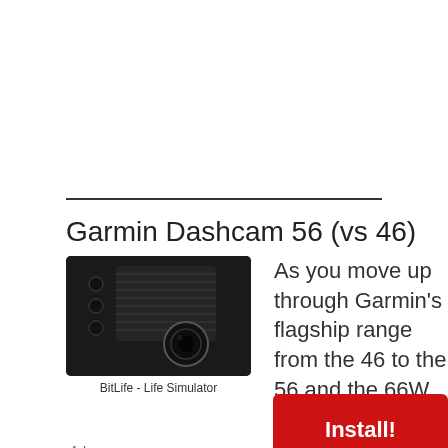[Figure (other): Empty white space at the top of the page, likely an advertisement placeholder area]
Garmin Dashcam 56 (vs 46)
[Figure (photo): Black Garmin dashcam device photographed against dark background, showing the front face with lens and ribbed housing]
BitLife - Life Simulator
Ad
[Figure (other): Red Install button for advertisement overlay]
As you move up through Garmin's flagship range from the 46 to the 56 and the 66W, the featu…